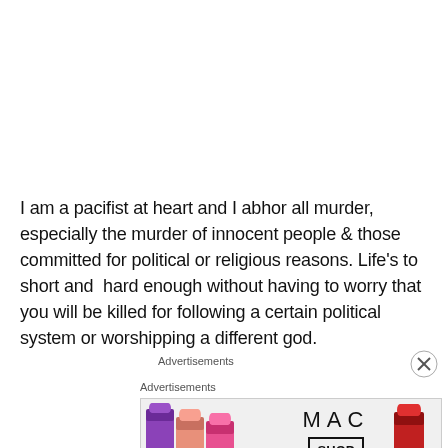I am a pacifist at heart and I abhor all murder, especially the murder of innocent people & those committed for political or religious reasons. Life's to short and hard enough without having to worry that you will be killed for following a certain political system or worshipping a different god.
Advertisements
Advertisements
[Figure (photo): MAC cosmetics advertisement banner showing colorful lipsticks on the left, MAC logo in the center, a SHOP NOW button box, and a red lipstick on the right]